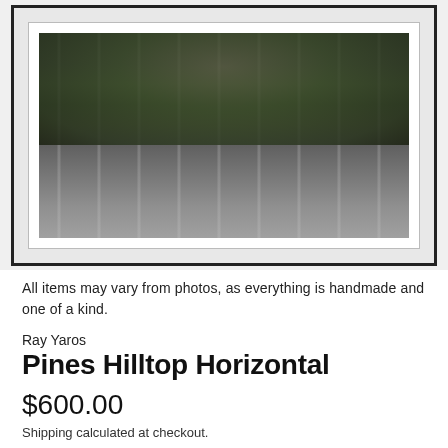[Figure (photo): Black and white framed photograph of pine trees on a hilltop, showing tall vertical tree trunks with dense foliage, displayed in a black frame with white mat]
All items may vary from photos, as everything is handmade and one of a kind.
Ray Yaros
Pines Hilltop Horizontal
$600.00
Shipping calculated at checkout.